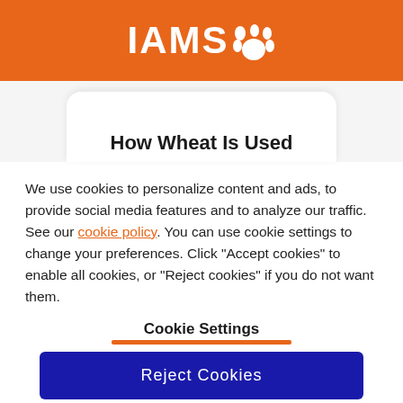[Figure (logo): IAMS logo with paw print icon on orange background]
How Wheat Is Used
We use cookies to personalize content and ads, to provide social media features and to analyze our traffic. See our cookie policy. You can use cookie settings to change your preferences. Click "Accept cookies" to enable all cookies, or "Reject cookies" if you do not want them.
Cookie Settings
Reject Cookies
Accept Cookies